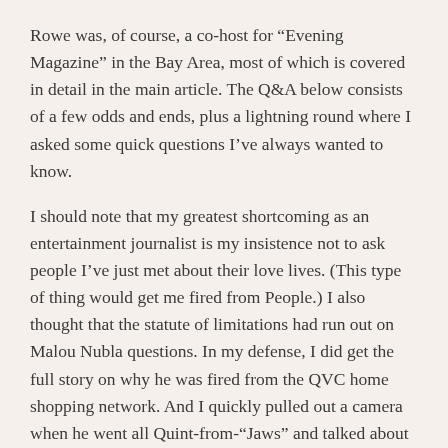Rowe was, of course, a co-host for “Evening Magazine” in the Bay Area, most of which is covered in detail in the main article. The Q&A below consists of a few odds and ends, plus a lightning round where I asked some quick questions I’ve always wanted to know.
I should note that my greatest shortcoming as an entertainment journalist is my insistence not to ask people I’ve just met about their love lives. (This type of thing would get me fired from People.) I also thought that the statute of limitations had run out on Malou Nubla questions. In my defense, I did get the full story on why he was fired from the QVC home shopping network. And I quickly pulled out a camera when he went all Quint-from-“Jaws” and talked about how he got all his scars …
Are you constantly in pain?